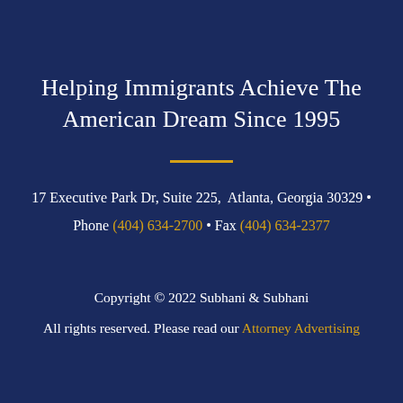Helping Immigrants Achieve The American Dream Since 1995
17 Executive Park Dr, Suite 225,  Atlanta, Georgia 30329  •  Phone (404) 634-2700  •  Fax (404) 634-2377
Copyright © 2022 Subhani & Subhani  All rights reserved. Please read our Attorney Advertising Notice and our Disclaimer.